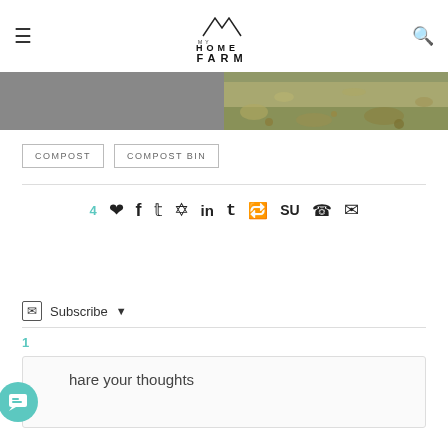My Home Farm
[Figure (photo): Two side-by-side images: left is a grey/placeholder rectangle, right is an outdoor photo of dry grass and fallen leaves on ground]
COMPOST
COMPOST BIN
4 ♥ social share icons: facebook, twitter, pinterest, linkedin, tumblr, reddit, stumbleupon, whatsapp, email
✉ Subscribe ▾
1
Share your thoughts